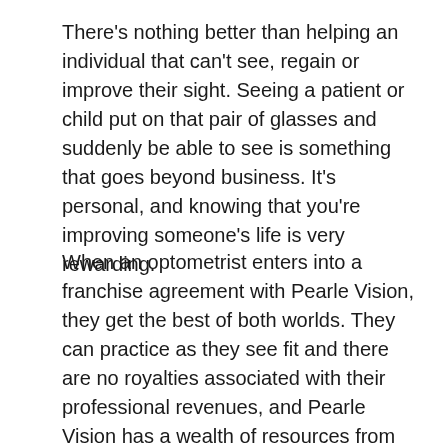There's nothing better than helping an individual that can't see, regain or improve their sight. Seeing a patient or child put on that pair of glasses and suddenly be able to see is something that goes beyond business. It's personal, and knowing that you're improving someone's life is very rewarding.
When an optometrist enters into a franchise agreement with Pearle Vision, they get the best of both worlds. They can practice as they see fit and there are no royalties associated with their professional revenues, and Pearle Vision has a wealth of resources from the medical community to give that doctor assistance and improve the quality of care. We also provide training services, recruiting services, succession planning and a business consultant. These are elements that would be extremely costly to an individual who operated